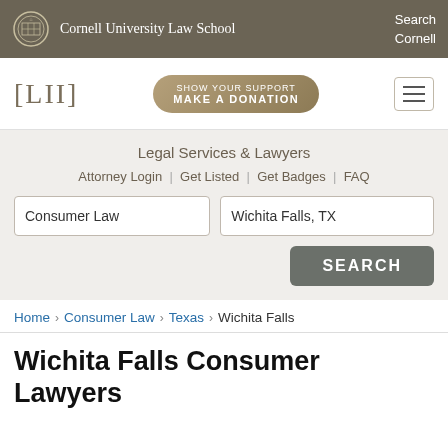Cornell University Law School | Search Cornell
[Figure (logo): LII [Legal Information Institute] logo with bracket notation]
SHOW YOUR SUPPORT MAKE A DONATION
Legal Services & Lawyers
Attorney Login | Get Listed | Get Badges | FAQ
Consumer Law | Wichita Falls, TX | SEARCH
Home › Consumer Law › Texas › Wichita Falls
Wichita Falls Consumer Lawyers